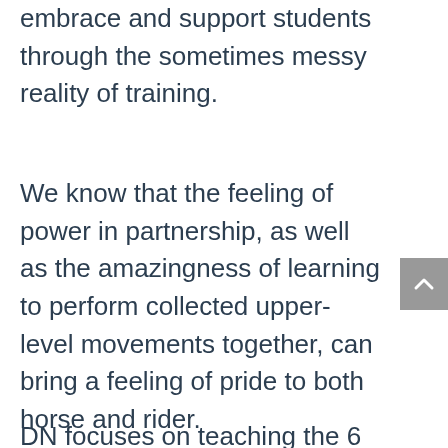embrace and support students through the sometimes messy reality of training.
We know that the feeling of power in partnership, as well as the amazingness of learning to perform collected upper-level movements together, can bring a feeling of pride to both horse and rider.
DN focuses on teaching the 6